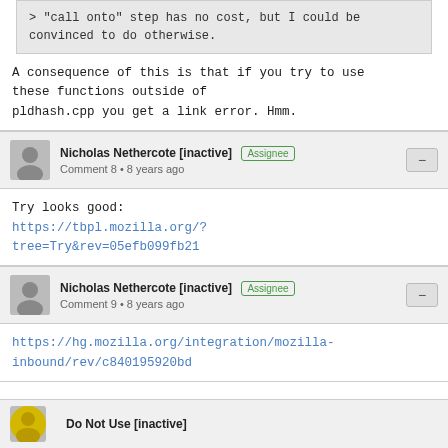> "call onto" step has no cost, but I could be convinced to do otherwise.
A consequence of this is that if you try to use these functions outside of pldhash.cpp you get a link error. Hmm.
Nicholas Nethercote [inactive] Assignee
Comment 8 • 8 years ago
Try looks good:
https://tbpl.mozilla.org/?tree=Try&rev=05efb099fb21
Nicholas Nethercote [inactive] Assignee
Comment 9 • 8 years ago
https://hg.mozilla.org/integration/mozilla-inbound/rev/c840195920bd